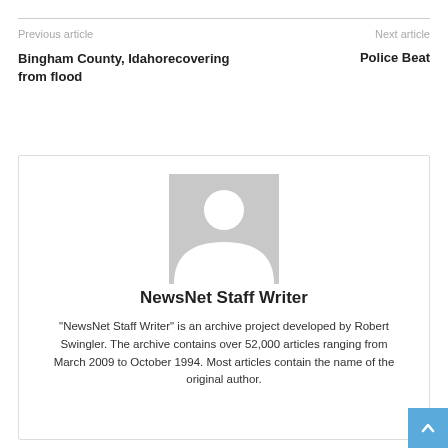Previous article
Next article
Bingham County, Idahorecovering from flood
Police Beat
[Figure (illustration): Generic avatar placeholder image: grey rectangle with white silhouette of a person (head and shoulders)]
NewsNet Staff Writer
"NewsNet Staff Writer" is an archive project developed by Robert Swingler. The archive contains over 52,000 articles ranging from March 2009 to October 1994. Most articles contain the name of the original author.